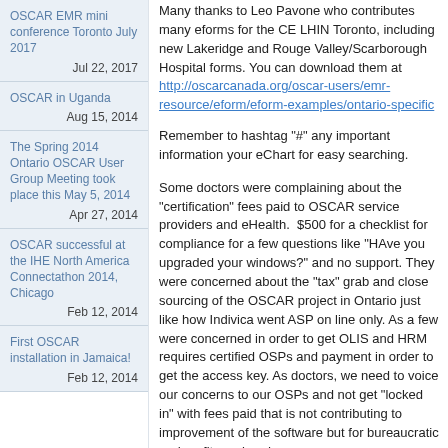OSCAR EMR mini conference Toronto July 2017
Jul 22, 2017
OSCAR in Uganda
Aug 15, 2014
The Spring 2014 Ontario OSCAR User Group Meeting took place this May 5, 2014
Apr 27, 2014
OSCAR successful at the IHE North America Connectathon 2014, Chicago
Feb 12, 2014
First OSCAR installation in Jamaica!
Feb 12, 2014
Many thanks to Leo Pavone who contributes many eforms for the CE LHIN Toronto, including new Lakeridge and Rouge Valley/Scarborough Hospital forms. You can download them at http://oscarcanada.org/oscar-users/emr-resource/eform/eform-examples/ontario-specific
Remember to hashtag "#" any important information your eChart for easy searching.
Some doctors were complaining about the "certification" fees paid to OSCAR service providers and eHealth. $500 for a checklist for compliance for a few questions like "HAve you upgraded your windows?" and no support. They were concerned about the "tax" grab and close sourcing of the OSCAR project in Ontario just like how Indivica went ASP on line only. As a few were concerned in order to get OLIS and HRM requires certified OSPs and payment in order to get the access key. As doctors, we need to voice our concerns to our OSPs and not get "locked in" with fees paid that is not contributing to improvement of the software but for bureaucratic and profit overhead.